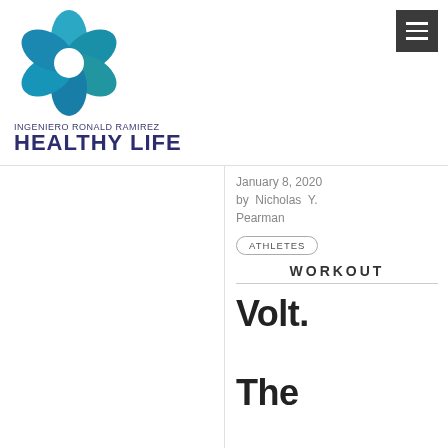[Figure (logo): Ingeniero Ronald Ramirez Healthy Life logo — a teal/blue flower petal pattern with white center, above text INGENIERO RONALD RAMIREZ and HEALTHY LIFE in dark blue]
January 8, 2020 by Nicholas Y. Pearman
ATHLETES
WORKOUT
Volt. The Workout